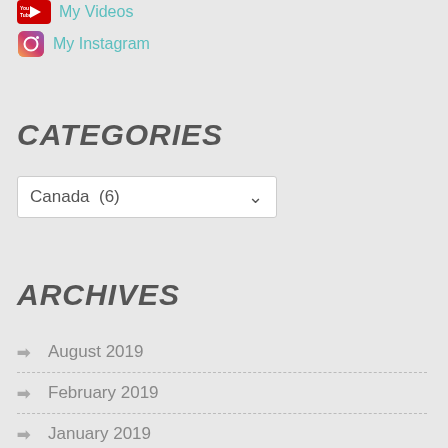My Videos
My Instagram
CATEGORIES
Canada  (6)
ARCHIVES
August 2019
February 2019
January 2019